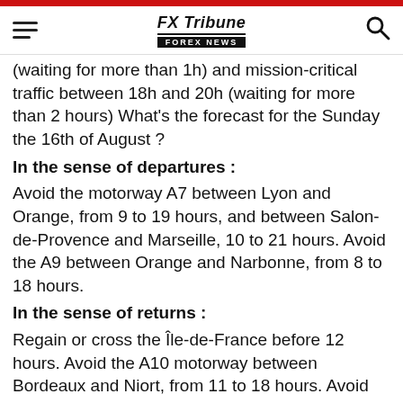FX Tribune FOREX NEWS
(waiting for more than 1h) and mission-critical traffic between 18h and 20h (waiting for more than 2 hours) What's the forecast for the Sunday the 16th of August ?
In the sense of departures :
Avoid the motorway A7 between Lyon and Orange, from 9 to 19 hours, and between Salon-de-Provence and Marseille, 10 to 21 hours. Avoid the A9 between Orange and Narbonne, from 8 to 18 hours.
In the sense of returns :
Regain or cross the Île-de-France before 12 hours. Avoid the A10 motorway between Bordeaux and Niort, from 11 to 18 hours. Avoid the A7 motorway between Salon-de-Provence and Lyon, from 9 to 21 hours. Avoid the A50 motorway between Marseille